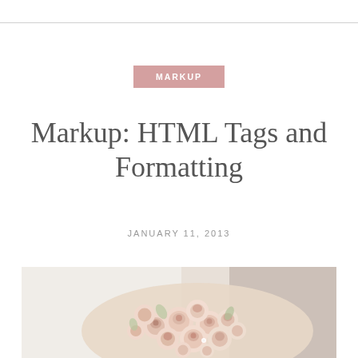MARKUP
Markup: HTML Tags and Formatting
JANUARY 11, 2013
[Figure (photo): A bridal bouquet of pale pink and cream roses held by a person in a white dress with another person in dark clothing partially visible in the background]